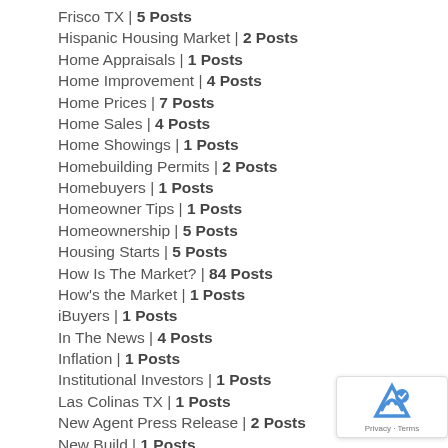Frisco TX | 5 Posts
Hispanic Housing Market | 2 Posts
Home Appraisals | 1 Posts
Home Improvement | 4 Posts
Home Prices | 7 Posts
Home Sales | 4 Posts
Home Showings | 1 Posts
Homebuilding Permits | 2 Posts
Homebuyers | 1 Posts
Homeowner Tips | 1 Posts
Homeownership | 5 Posts
Housing Starts | 5 Posts
How Is The Market? | 84 Posts
How's the Market | 1 Posts
iBuyers | 1 Posts
In The News | 4 Posts
Inflation | 1 Posts
Institutional Investors | 1 Posts
Las Colinas TX | 1 Posts
New Agent Press Release | 2 Posts
New Build | 1 Posts
New Construction in DFW | 12 Posts
Plano, TX | 2 Posts
RE/MAX DFW Associates Birthdays | 11 Posts
Real Estate Industry | 3 Posts